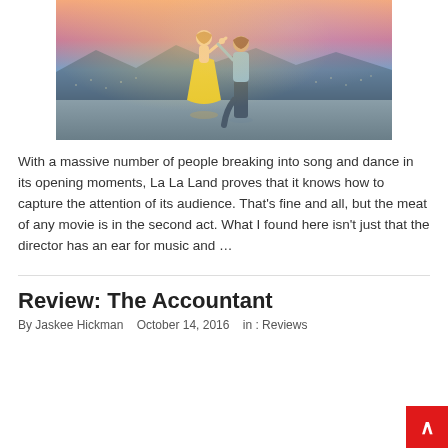[Figure (photo): Two people dancing outdoors at dusk — a woman in a yellow dress and a man in a light blue shirt, with a city skyline visible in the background at sunset.]
With a massive number of people breaking into song and dance in its opening moments, La La Land proves that it knows how to capture the attention of its audience. That's fine and all, but the meat of any movie is in the second act. What I found here isn't just that the director has an ear for music and …
Review: The Accountant
By Jaskee Hickman   October 14, 2016   in : Reviews